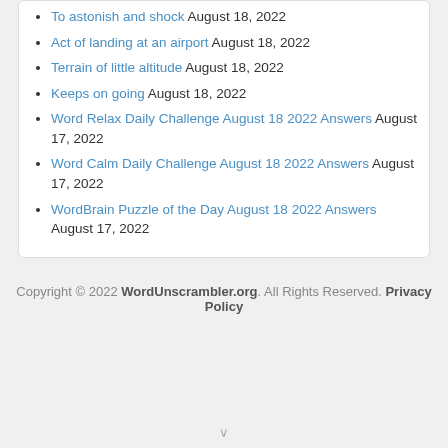To astonish and shock August 18, 2022
Act of landing at an airport August 18, 2022
Terrain of little altitude August 18, 2022
Keeps on going August 18, 2022
Word Relax Daily Challenge August 18 2022 Answers August 17, 2022
Word Calm Daily Challenge August 18 2022 Answers August 17, 2022
WordBrain Puzzle of the Day August 18 2022 Answers August 17, 2022
Copyright © 2022 WordUnscrambler.org. All Rights Reserved. Privacy Policy